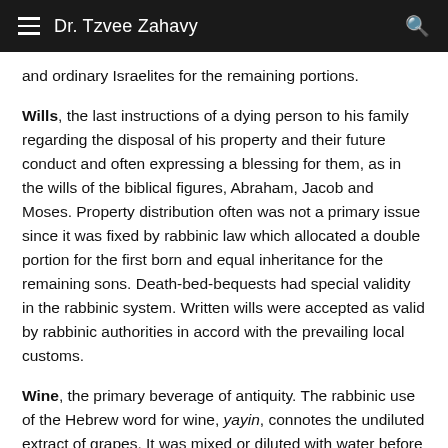Dr. Tzvee Zahavy
and ordinary Israelites for the remaining portions.
Wills, the last instructions of a dying person to his family regarding the disposal of his property and their future conduct and often expressing a blessing for them, as in the wills of the biblical figures, Abraham, Jacob and Moses. Property distribution often was not a primary issue since it was fixed by rabbinic law which allocated a double portion for the first born and equal inheritance for the remaining sons. Death-bed-bequests had special validity in the rabbinic system. Written wills were accepted as valid by rabbinic authorities in accord with the prevailing local customs.
Wine, the primary beverage of antiquity. The rabbinic use of the Hebrew word for wine, yayin, connotes the undiluted extract of grapes. It was mixed or diluted with water before